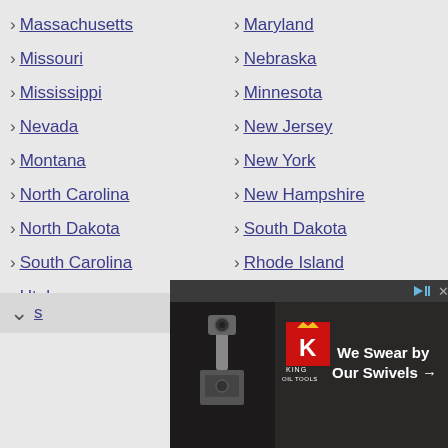Massachusetts
Maryland
Missouri
Nebraska
Mississippi
Minnesota
Nevada
New Jersey
Montana
New York
North Carolina
New Hampshire
North Dakota
South Dakota
South Carolina
Rhode Island
Utah
Tennessee
Washington
[Figure (other): King Oil Tools advertisement banner with text 'We Swear by Our Swivels' and logo]